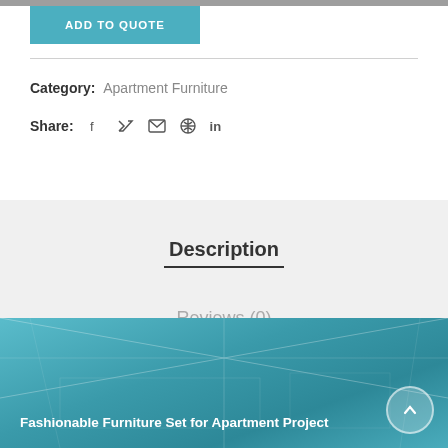ADD TO QUOTE
Category: Apartment Furniture
Share: [facebook] [twitter] [email] [pinterest] [linkedin]
Description
Reviews (0)
[Figure (photo): Interior room with fashionable furniture for apartment project, teal overlay]
Fashionable Furniture Set for Apartment Project